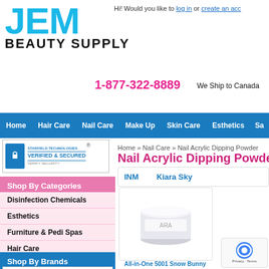JEM BEAUTY SUPPLY — 1-877-322-8889 We Ship to Canada
Hi! Would you like to log in or create an account?
Home  Hair Care  Nail Care  Make Up  Skin Care  Esthetics  Sa...
[Figure (logo): Starfield Technologies Verified & Secured badge]
Home » Nail Care » Nail Acrylic Dipping Powder
Shop By Categories
Disinfection Chemicals
Esthetics
Furniture & Pedi Spas
Hair Care
Make Up
Nail Care
Salon Essentials
Skin Care
Shop By Brands
Please Select
Nail Acrylic Dipping Powder
| INM | Kiara Sky |
| --- | --- |
[Figure (photo): White cylindrical nail acrylic dipping powder container]
All-in-One 5001 Snow Bunny oz